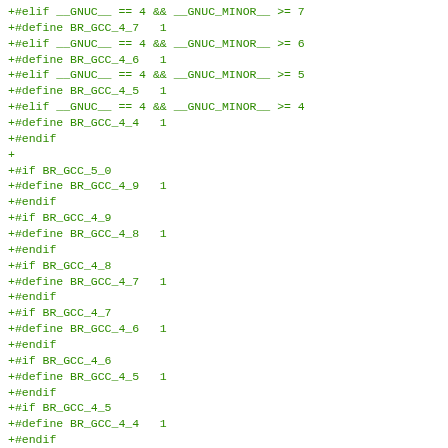+#elif __GNUC__ == 4 && __GNUC_MINOR__ >= 7
+#define BR_GCC_4_7   1
+#elif __GNUC__ == 4 && __GNUC_MINOR__ >= 6
+#define BR_GCC_4_6   1
+#elif __GNUC__ == 4 && __GNUC_MINOR__ >= 5
+#define BR_GCC_4_5   1
+#elif __GNUC__ == 4 && __GNUC_MINOR__ >= 4
+#define BR_GCC_4_4   1
+#endif
+
+#if BR_GCC_5_0
+#define BR_GCC_4_9   1
+#endif
+#if BR_GCC_4_9
+#define BR_GCC_4_8   1
+#endif
+#if BR_GCC_4_8
+#define BR_GCC_4_7   1
+#endif
+#if BR_GCC_4_7
+#define BR_GCC_4_6   1
+#endif
+#if BR_GCC_4_6
+#define BR_GCC_4_5   1
+#endif
+#if BR_GCC_4_5
+#define BR_GCC_4_4   1
+#endif
+
+#endif
+#endif
+